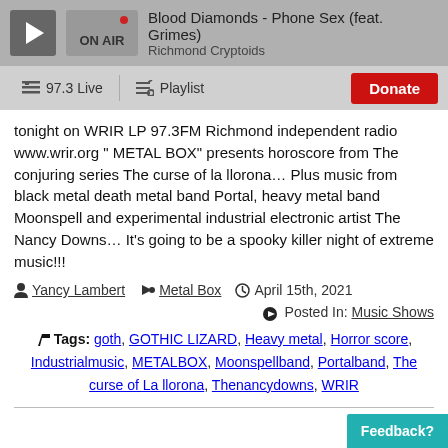Blood Diamonds - Phone Sex (feat. Grimes) | Richmond Cryptoids | ON AIR
97.3 Live | Playlist | Donate
tonight on WRIR LP 97.3FM Richmond independent radio www.wrir.org " METAL BOX" presents horoscore from The conjuring series The curse of la llorona… Plus music from black metal death metal band Portal, heavy metal band Moonspell and experimental industrial electronic artist The Nancy Downs… It's going to be a spooky killer night of extreme music!!!
Yancy Lambert  Metal Box  April 15th, 2021
Posted In: Music Shows
Tags: goth, GOTHIC LIZARD, Heavy metal, Horror score, Industrialmusic, METALBOX, Moonspellband, Portalband, The curse of La llorona, Thenancydowns, WRIR